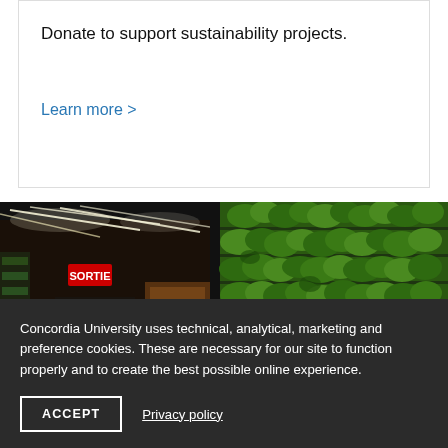Donate to support sustainability projects.
Learn more >
[Figure (photo): Two-panel photo: left shows an indoor vertical farm with bright ceiling strip lights and shelves of green plants in a dark room with an exit sign; right shows a lush green living wall covered in dense tropical foliage.]
Concordia University uses technical, analytical, marketing and preference cookies. These are necessary for our site to function properly and to create the best possible online experience.
ACCEPT
Privacy policy